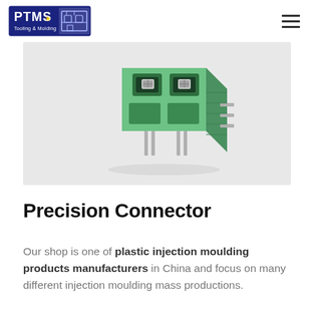PTMS Tooling & Molding logo and navigation menu
[Figure (photo): Green plastic precision connector / terminal block with metal contacts, photographed on a light gray background]
Precision Connector
Our shop is one of plastic injection moulding products manufacturers in China and focus on many different injection moulding mass productions.